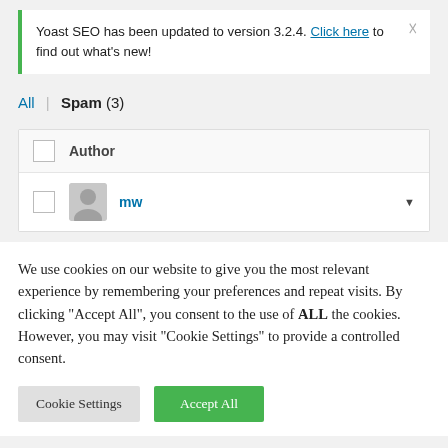Yoast SEO has been updated to version 3.2.4. Click here to find out what's new!
All | Spam (3)
|  | Author |
| --- | --- |
|  | mw |
We use cookies on our website to give you the most relevant experience by remembering your preferences and repeat visits. By clicking "Accept All", you consent to the use of ALL the cookies. However, you may visit "Cookie Settings" to provide a controlled consent.